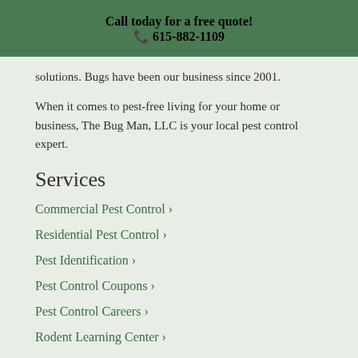Call today for a free quote!
📞 615-882-1109
solutions. Bugs have been our business since 2001.
When it comes to pest-free living for your home or business, The Bug Man, LLC is your local pest control expert.
Services
Commercial Pest Control ›
Residential Pest Control ›
Pest Identification ›
Pest Control Coupons ›
Pest Control Careers ›
Rodent Learning Center ›